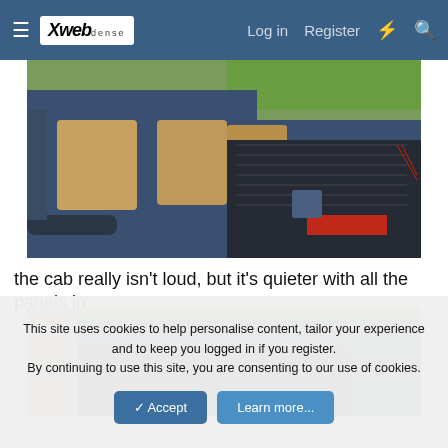Xweb | Log in | Register
[Figure (photo): Blue pickup truck with open cab doors and tan/beige interior seats visible, bed liner in truck bed, parked on driveway]
the cab really isn't loud, but it's quieter with all the panels in
[Figure (photo): Close-up of blue pickup truck bed interior, showing wiring and truck bed details with grass in background]
This site uses cookies to help personalise content, tailor your experience and to keep you logged in if you register.
By continuing to use this site, you are consenting to our use of cookies.